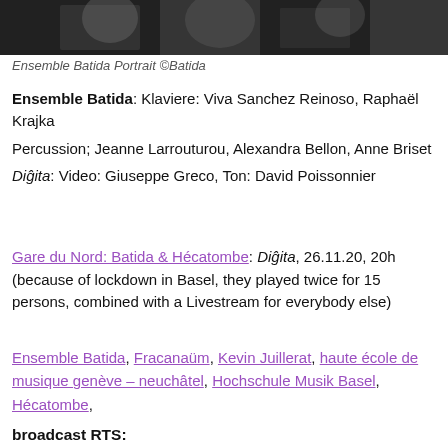[Figure (photo): Black and white portrait photograph of Ensemble Batida musicians]
Ensemble Batida Portrait ©Batida
Ensemble Batida: Klaviere: Viva Sanchez Reinoso, Raphaël Krajka
Percussion; Jeanne Larrouturou, Alexandra Bellon, Anne Briset
Diĝita: Video: Giuseppe Greco, Ton: David Poissonnier
Gare du Nord: Batida & Hécatombe: Diĝita, 26.11.20, 20h (because of lockdown in Basel, they played twice for 15 persons, combined with a Livestream for everybody else)
Ensemble Batida, Fracanaüm, Kevin Juillerat, haute école de musique genève – neuchâtel, Hochschule Musik Basel, Hécatombe,
broadcast RTS: